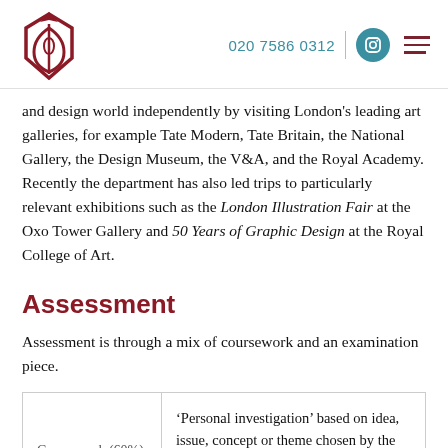020 7586 0312
and design world independently by visiting London's leading art galleries, for example Tate Modern, Tate Britain, the National Gallery, the Design Museum, the V&A, and the Royal Academy. Recently the department has also led trips to particularly relevant exhibitions such as the London Illustration Fair at the Oxo Tower Gallery and 50 Years of Graphic Design at the Royal College of Art.
Assessment
Assessment is through a mix of coursework and an examination piece.
| Coursework (60%) | 'Personal investigation' based on idea, issue, concept or theme chosen by the student plus an evaluation of 1,000 – 3,000 words. |